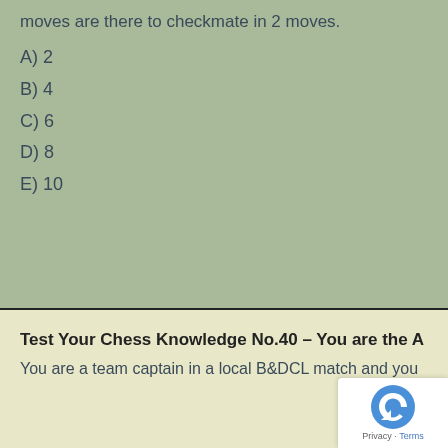moves are there to checkmate in 2 moves.
A) 2
B) 4
C) 6
D) 8
E) 10
Test Your Chess Knowledge No.40 – You are the A
You are a team captain in a local B&DCL match and you